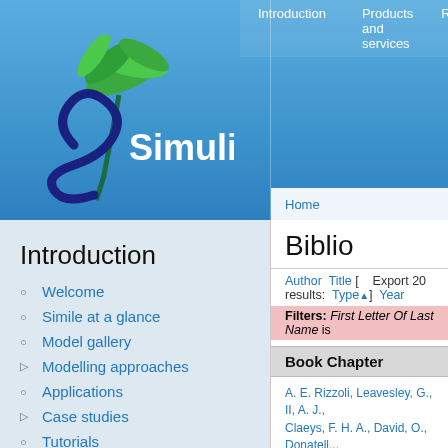Simulistics — Introduction | Products and services | Re...
Simulistics
Introduction
Welcome
Simile at a glance
Model gallery
Modelling approaches
Applications
Case studies
Tutorials
Publications
Worked examples
Resources and
Home
Biblio
Author Title [ Export 20 results: Type▲] Year
Filters: First Letter Of Last Name is
Book Chapter
A. E. Rizzoli, Leavesley, G., II, A. J., Claeys, F. H. A., David, O., Donatell... P., Quinn, N. W. T., Scholten, H., So... "Integrated Modelling Frameworks... Support", in Developments in Integ... Jakeman, Voinov, A. A., Rizzoli, A. E... 118. DOI Google Scholar BibTe...